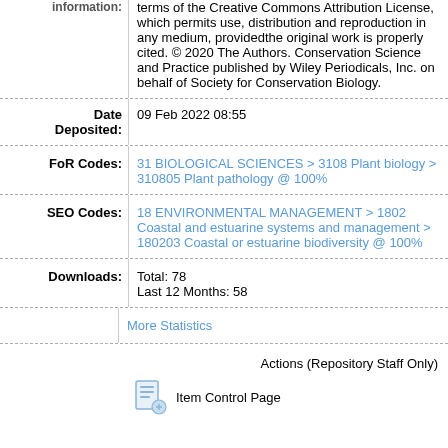License, which permits use, distribution and reproduction in any medium, providedthe original work is properly cited. © 2020 The Authors. Conservation Science and Practice published by Wiley Periodicals, Inc. on behalf of Society for Conservation Biology.
| Field | Value |
| --- | --- |
| Date Deposited: | 09 Feb 2022 08:55 |
| FoR Codes: | 31 BIOLOGICAL SCIENCES > 3108 Plant biology > 310805 Plant pathology @ 100% |
| SEO Codes: | 18 ENVIRONMENTAL MANAGEMENT > 1802 Coastal and estuarine systems and management > 180203 Coastal or estuarine biodiversity @ 100% |
| Downloads: | Total: 78
Last 12 Months: 58 |
|  | More Statistics |
Actions (Repository Staff Only)
Item Control Page